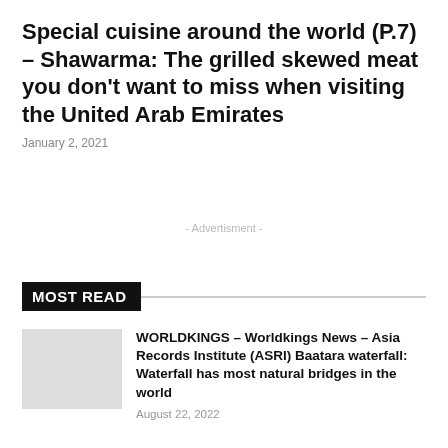Special cuisine around the world (P.7) – Shawarma: The grilled skewed meat you don't want to miss when visiting the United Arab Emirates
January 2, 2021
- Advertisment -
MOST READ
WORLDKINGS – Worldkings News – Asia Records Institute (ASRI) Baatara waterfall: Waterfall has most natural bridges in the world
August 22, 2022